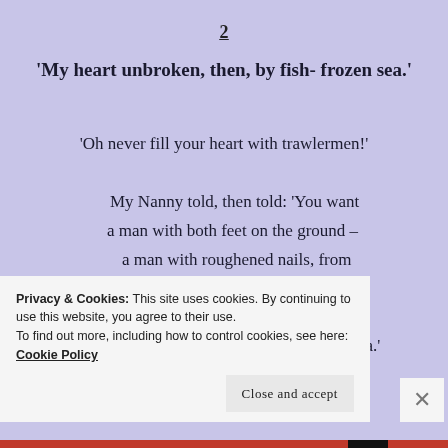2
‘My heart unbroken, then, by fish- frozen sea.’
‘Oh never fill your heart with trawlermen!’

My Nanny told, then told: ‘You want
a man with both feet on the ground –
a man with roughened nails, from
dirt and labour on the land,

not brined and drenched through by the Sea.’
Privacy & Cookies: This site uses cookies. By continuing to use this website, you agree to their use.
To find out more, including how to control cookies, see here: Cookie Policy
Close and accept